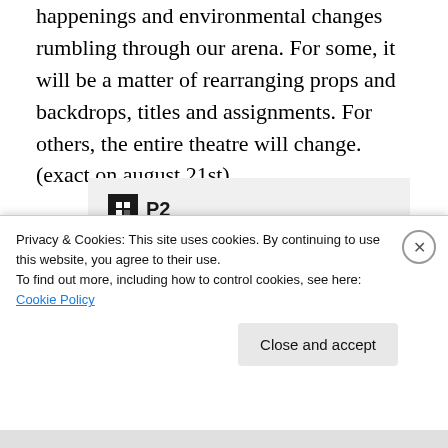happenings and environmental changes rumbling through our arena. For some, it will be a matter of rearranging props and backdrops, titles and assignments. For others, the entire theatre will change. (exact on august 21st)
[Figure (screenshot): P2 advertisement box with logo, headline 'Getting your team on the same page is easy. And free.' and circular avatar photos at bottom]
Privacy & Cookies: This site uses cookies. By continuing to use this website, you agree to their use.
To find out more, including how to control cookies, see here: Cookie Policy
Close and accept